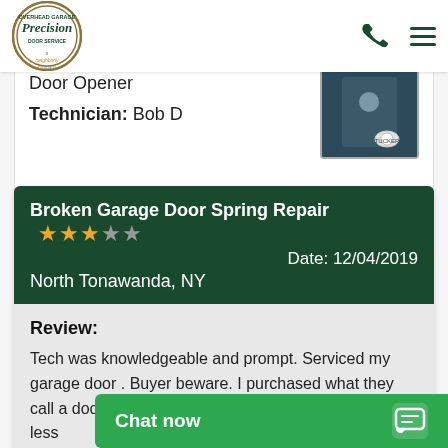[Figure (logo): Precision Door Service overhead garage logo - oval shaped with green border]
Door Opener
Technician: Bob D
[Figure (photo): Photo of technician in dark uniform with company badge]
Broken Garage Door Spring Repair ★★★☆☆ Date: 12/04/2019 North Tonawanda, NY
Review:
Tech was knowledgeable and prompt. Serviced my garage door . Buyer beware. I purchased what they call a door rebuild for $799.I researched parts totaled less